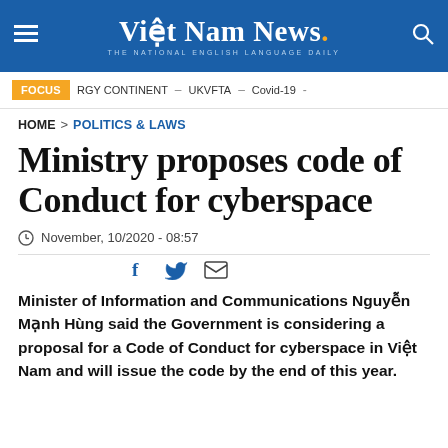Việt Nam News. THE NATIONAL ENGLISH LANGUAGE DAILY
FOCUS  RGY CONTINENT – UKVFTA – Covid-19 -
HOME > POLITICS & LAWS
Ministry proposes code of Conduct for cyberspace
November, 10/2020 - 08:57
Minister of Information and Communications Nguyễn Mạnh Hùng said the Government is considering a proposal for a Code of Conduct for cyberspace in Việt Nam and will issue the code by the end of this year.